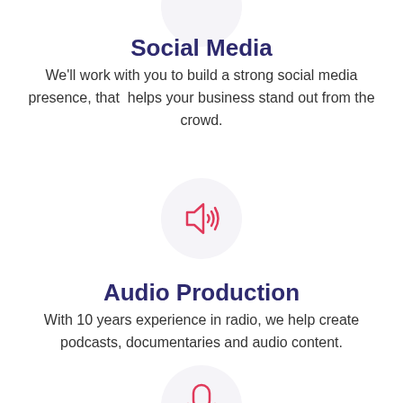Social Media
We'll work with you to build a strong social media presence, that  helps your business stand out from the crowd.
[Figure (illustration): Speaker/audio icon (sound waves from a speaker) in pink/red color inside a light gray circle]
Audio Production
With 10 years experience in radio, we help create podcasts, documentaries and audio content.
[Figure (illustration): Microphone icon in pink/red color inside a light gray circle, partially visible at bottom]